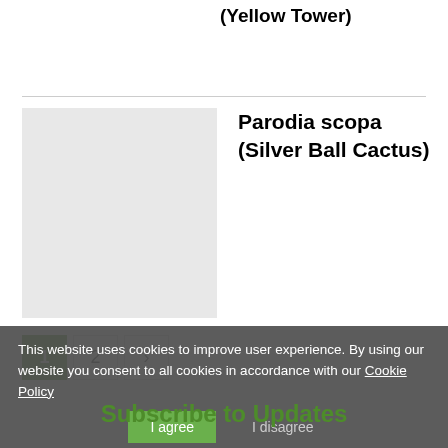(Yellow Tower)
[Figure (photo): Placeholder image for Parodia scopa cactus]
Parodia scopa (Silver Ball Cactus)
1 2 ›
This website uses cookies to improve user experience. By using our website you consent to all cookies in accordance with our Cookie Policy
Subscribe to Updates